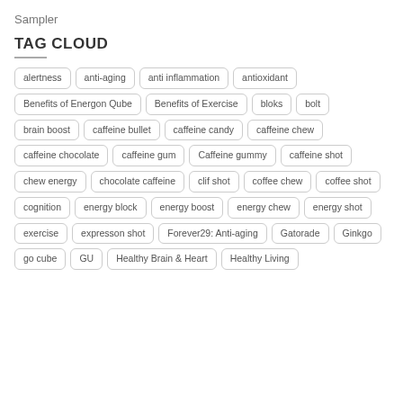Sampler
TAG CLOUD
alertness, anti-aging, anti inflammation, antioxidant, Benefits of Energon Qube, Benefits of Exercise, bloks, bolt, brain boost, caffeine bullet, caffeine candy, caffeine chew, caffeine chocolate, caffeine gum, Caffeine gummy, caffeine shot, chew energy, chocolate caffeine, clif shot, coffee chew, coffee shot, cognition, energy block, energy boost, energy chew, energy shot, exercise, expresson shot, Forever29: Anti-aging, Gatorade, Ginkgo, go cube, GU, Healthy Brain & Heart, Healthy Living